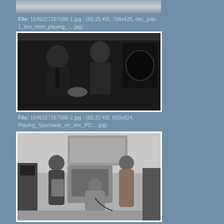[Figure (photo): Top portion of an image showing what appears to be books or files on shelves (partially visible, cropped)]
File: 1645327267588-1.jpg - (50.25 KB, 756x425, dec_pdp-1_two_men_playing_….jpg)
[Figure (photo): Black and white photograph of two men looking at and operating a DEC PDP-1 computer, showing the display screen with what appears to be Spacewar game]
File: 1645327267588-2.jpg - (65.22 KB, 800x624, Playing_Spacewar_on_dec_PD….jpg)
[Figure (photo): Black and white photograph of three people working around a DEC PDP computer system in a lab setting]